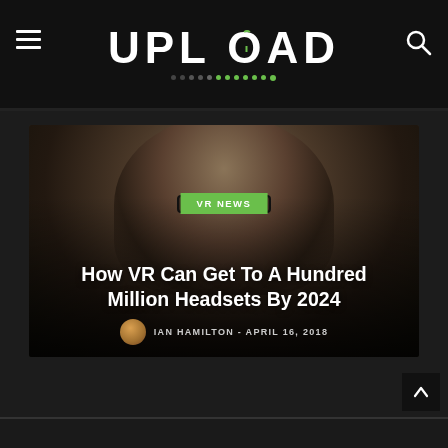UPLOAD
[Figure (photo): Hero image of a person with curly hair and glasses, dark background. Contains VR NEWS badge, article title, and author info.]
How VR Can Get To A Hundred Million Headsets By 2024
IAN HAMILTON  -  APRIL 16, 2018